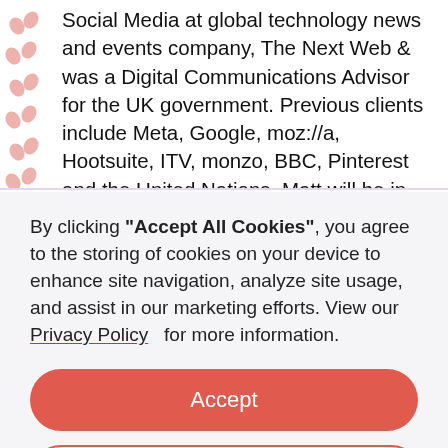Social Media at global technology news and events company, The Next Web & was a Digital Communications Advisor for the UK government. Previous clients include Meta, Google, moz://a, Hootsuite, ITV, monzo, BBC, Pinterest and the United Nations. Matt will be in conversation with event host Ashleigh talking about this year's social media trends, latest developments in social media and
By clicking "Accept All Cookies", you agree to the storing of cookies on your device to enhance site navigation, analyze site usage, and assist in our marketing efforts. View our Privacy Policy for more information.
Accept
Deny
Preferences